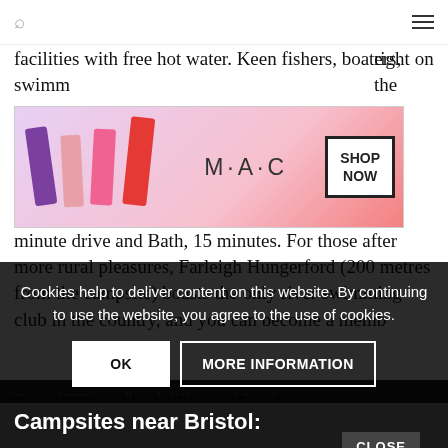Navigation bar with search and menu icons
facilities with free hot water. Keen fishers, boaters, swimmers… right on the… only a 5 minute drive and Bath, 15 minutes. For those after more rural pleasures, Farleigh Hungerford (200 metres from the campsite) boasts the only river swimming club in the country, and you can become a member…
[Figure (screenshot): MAC cosmetics advertisement showing lipsticks with SHOP NOW button]
[Figure (screenshot): Macy's advertisement: KISS BORING LIPS GOODBYE with SHOP NOW button and CLOSE button]
Fires and BBQs are allowed off the ground. In order to preserve the grass (grab some homemade sausages and bacon from the farmhouse first). Fire bowls can be hired for £10, and they sell bags of logs.
Cookies help to deliver content on this website. By continuing to use the website, you agree to the use of cookies.
OK | MORE INFORMATION
Campsites near Bristol: